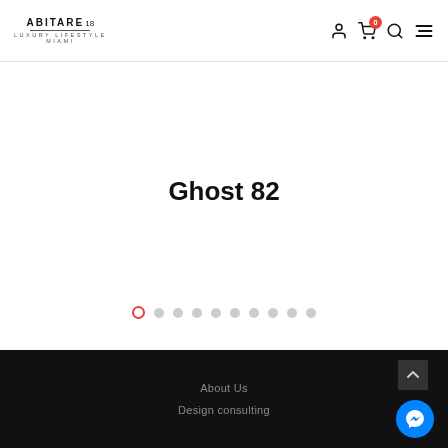ABITARE 18 LUXURY LIFESTYLE MIAMI — navigation icons: user, cart (0), search, menu
Ghost 82
[Figure (other): Carousel dot navigation: 10 dots, first dot is active (orange outline), rest are grey filled circles]
About Us
Design consulting